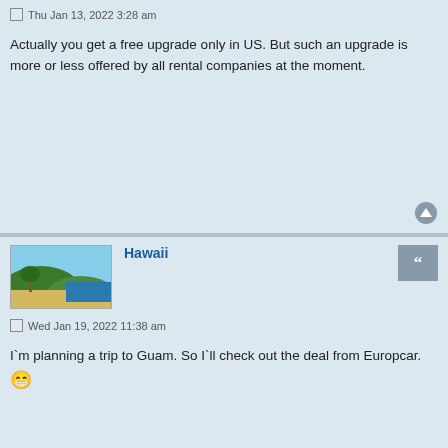Thu Jan 13, 2022 3:28 am
Actually you get a free upgrade only in US. But such an upgrade is more or less offered by all rental companies at the moment.
Hawaii
Wed Jan 19, 2022 11:38 am
I`m planning a trip to Guam. So I`ll check out the deal from Europcar. 😁
Post Reply
5 posts • Page 1 of 1
This website uses cookies to ensure you get the best experience on our website. Learn more
Got it!
Jump to
Portal • Board index
All times are UTC-04:00
Powered by phpBB® Forum Software © phpBB Limited
Privacy | Terms